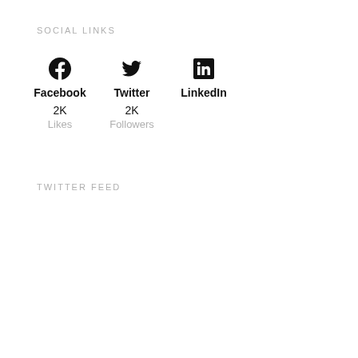SOCIAL LINKS
[Figure (infographic): Social media icons and stats: Facebook (2K Likes), Twitter (2K Followers), LinkedIn]
TWITTER FEED